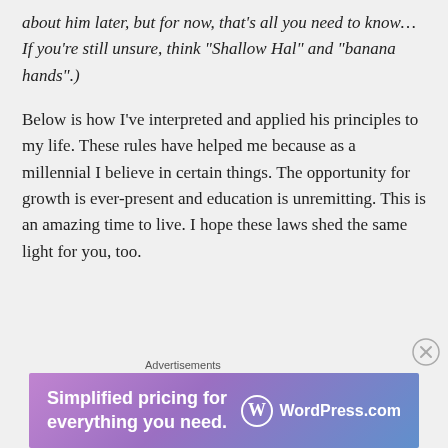about him later, but for now, that's all you need to know... If you're still unsure, think "Shallow Hal" and "banana hands".)
Below is how I've interpreted and applied his principles to my life. These rules have helped me because as a millennial I believe in certain things. The opportunity for growth is ever-present and education is unremitting. This is an amazing time to live. I hope these laws shed the same light for you, too.
Advertisements
[Figure (other): WordPress.com advertisement banner with gradient purple-blue background. Text reads 'Simplified pricing for everything you need.' with WordPress.com logo on the right.]